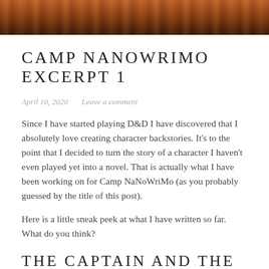[Figure (photo): Header image showing a warm reddish-orange sunset reflection on water, with dark wood-like texture.]
CAMP NANOWRIMO EXCERPT 1
April 10, 2020   Leave a comment
Since I have started playing D&D I have discovered that I absolutely love creating character backstories. It’s to the point that I decided to turn the story of a character I haven’t even played yet into a novel. That is actually what I have been working on for Camp NaNoWriMo (as you probably guessed by the title of this post).
Here is a little sneak peek at what I have written so far. What do you think?
THE CAPTAIN AND THE BARD
“It was a...